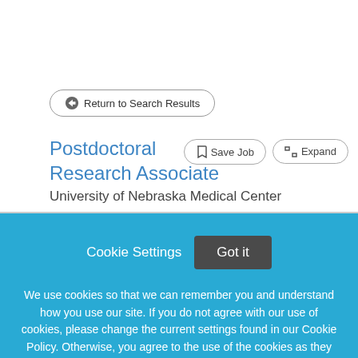Return to Search Results
Postdoctoral Research Associate
University of Nebraska Medical Center
Save Job
Expand
Cookie Settings
Got it
We use cookies so that we can remember you and understand how you use our site. If you do not agree with our use of cookies, please change the current settings found in our Cookie Policy. Otherwise, you agree to the use of the cookies as they are currently set.